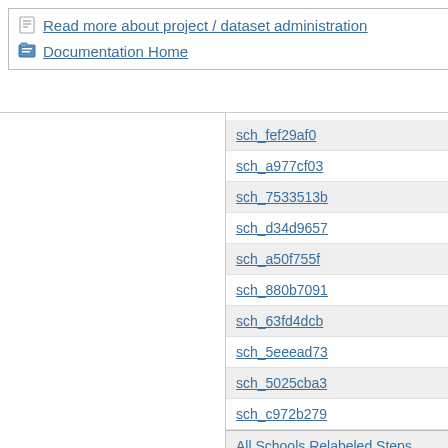Read more about project / dataset administration
Documentation Home
sch_fef29af0
sch_a977cf03
sch_7533513b
sch_d34d9657
sch_a50f755f
sch_880b7091
sch_63fd4dcb
sch_5eeead73
sch_5025cba3
sch_c972b279
All Schools Relabeled Steps (filtered, re-sorted)
All Schools Relabeled Steps (filtered, re-sorted, simulated state-restore, no grading nulls)
Fraction Reduction IR